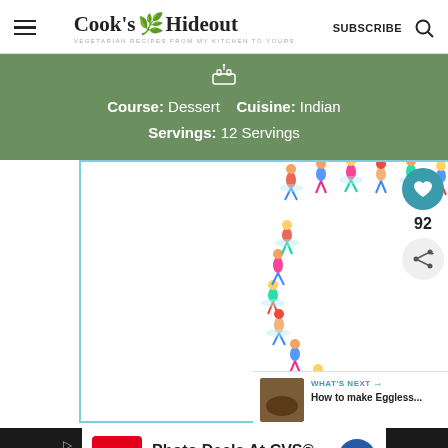Cook's Hideout — VEGETARIAN RECIPES FROM MY KITCHEN TO YOURS — SUBSCRIBE
Course: Dessert   Cuisine: Indian   Servings: 12 Servings
[Figure (illustration): Colorful illustration of miniature people forming a heart shape, arranged in a circle/heart pattern on a white background, inside a teal-bordered frame.]
92
WHAT'S NEXT → How to make Eggless...
Photo Deals At CVS® CVS Photo